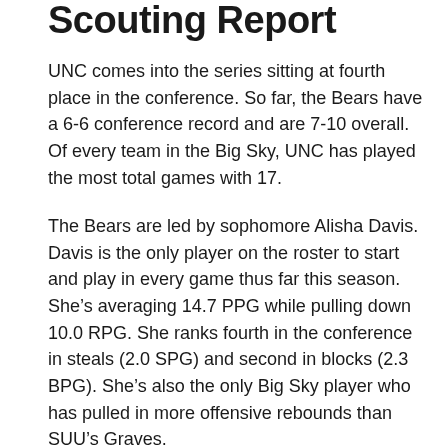Scouting Report
UNC comes into the series sitting at fourth place in the conference. So far, the Bears have a 6-6 conference record and are 7-10 overall. Of every team in the Big Sky, UNC has played the most total games with 17.
The Bears are led by sophomore Alisha Davis. Davis is the only player on the roster to start and play in every game thus far this season. She’s averaging 14.7 PPG while pulling down 10.0 RPG. She ranks fourth in the conference in steals (2.0 SPG) and second in blocks (2.3 BPG). She’s also the only Big Sky player who has pulled in more offensive rebounds than SUU’s Graves.
Davis’ offensive production is followed by sophomore Jasmine Gayles. A guard out of Seattle, Wash., Gayles is averaging 11.5 PPG while shooting 38% from 3-point